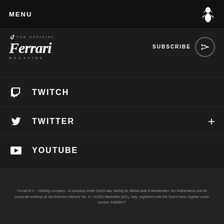MENU
[Figure (logo): Ferrari prancing horse logo in white]
[Figure (logo): Official Ferrari Magazine logo with TikTok icon overlay]
SUBSCRIBE
TWITCH
TWITTER
YOUTUBE
Ferrari N.V. - Holding company - A company under Dutch law, having its official seat in Amsterdam, the Netherlands and its corporate address at Via Abetone Inferiore No. 4, I-41053 Maranello (MO), Italy, registered with the Dutch trade register under number 64060977